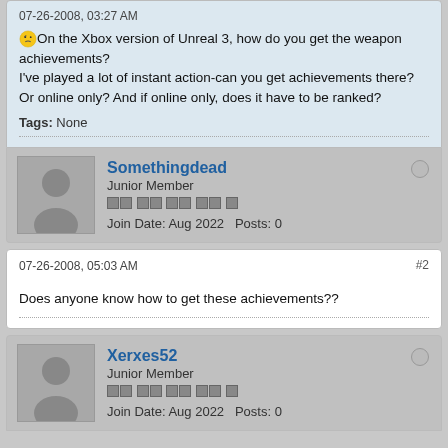07-26-2008, 03:27 AM
😏On the Xbox version of Unreal 3, how do you get the weapon achievements?
I've played a lot of instant action-can you get achievements there? Or online only? And if online only, does it have to be ranked?
Tags: None
Somethingdead
Junior Member
Join Date: Aug 2022  Posts: 0
07-26-2008, 05:03 AM
#2
Does anyone know how to get these achievements??
Xerxes52
Junior Member
Join Date: Aug 2022  Posts: 0